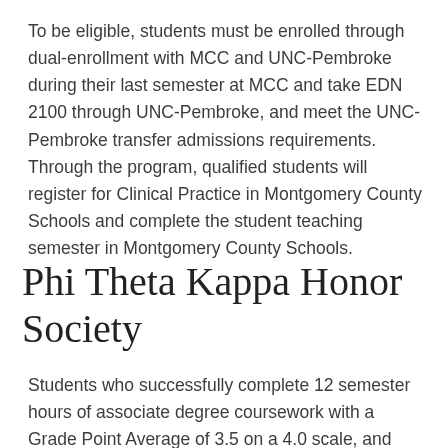To be eligible, students must be enrolled through dual-enrollment with MCC and UNC-Pembroke during their last semester at MCC and take EDN 2100 through UNC-Pembroke, and meet the UNC-Pembroke transfer admissions requirements. Through the program, qualified students will register for Clinical Practice in Montgomery County Schools and complete the student teaching semester in Montgomery County Schools.
Phi Theta Kappa Honor Society
Students who successfully complete 12 semester hours of associate degree coursework with a Grade Point Average of 3.5 on a 4.0 scale, and adhere to the school